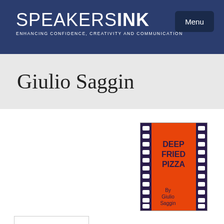SPEAKERS INK — ENHANCING CONFIDENCE, CREATIVITY AND COMMUNICATION — Menu
Giulio Saggin
[Figure (illustration): Book cover for 'Deep Fried Pizza' by Giulio Saggin, shown as a film strip with orange/red background and bold dark text reading DEEP FRIED PIZZA, with 'By Giulio Saggin' at the bottom]